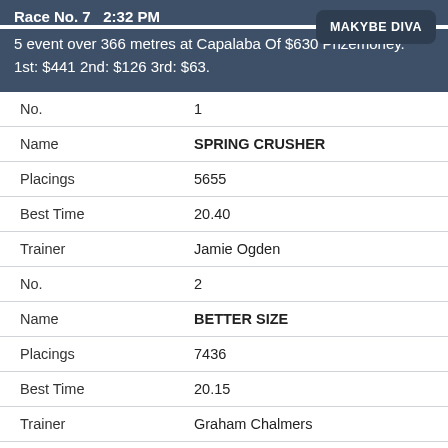Race No. 7   2:32 PM
5 event over 366 metres at Capalaba Of $630 Prizemoney.
1st: $441 2nd: $126 3rd: $63.
MAKYBE DIVA
| Field | Value |
| --- | --- |
| No. | 1 |
| Name | SPRING CRUSHER |
| Placings | 5655 |
| Best Time | 20.40 |
| Trainer | Jamie Ogden |
| No. | 2 |
| Name | BETTER SIZE |
| Placings | 7436 |
| Best Time | 20.15 |
| Trainer | Graham Chalmers |
| No. | 3 |
| Name | UNIQUE KALEESI |
| Placings | 8262 |